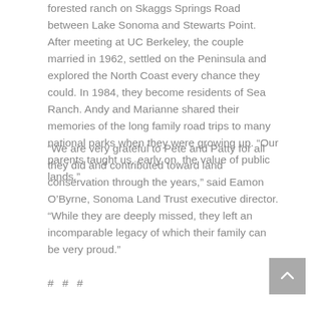forested ranch on Skaggs Springs Road between Lake Sonoma and Stewarts Point. After meeting at UC Berkeley, the couple married in 1962, settled on the Peninsula and explored the North Coast every chance they could. In 1984, they become residents of Sea Ranch. Andy and Marianne shared their memories of the long family road trips to many national parks when they were growing up. “Our parents taught us, early on, the value of public lands.”
“We are very grateful to Pete and Patty for all they did and contributed toward land conservation through the years,” said Eamon O’Byrne, Sonoma Land Trust executive director. “While they are deeply missed, they left an incomparable legacy of which their family can be very proud.”
# # #